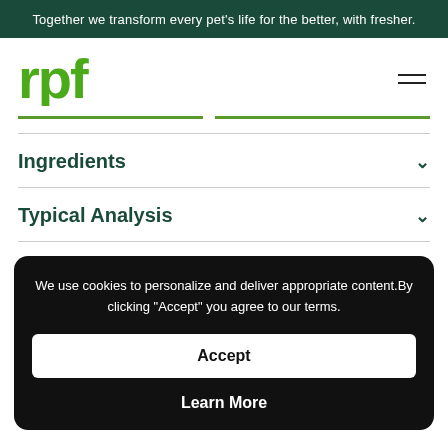Together we transform every pet's life for the better, with fresher.
[Figure (logo): RPF logo in green block letters]
Ingredients
Typical Analysis
We use cookies to personalize and deliver appropriate content.By clicking "Accept" you agree to our terms.
Accept
Learn More